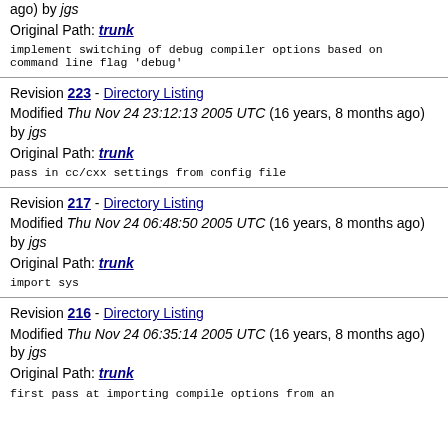ago) by jgs
Original Path: trunk
implement switching of debug compiler options based on
command line flag 'debug'
Revision 223 - Directory Listing
Modified Thu Nov 24 23:12:13 2005 UTC (16 years, 8 months ago) by jgs
Original Path: trunk
pass in cc/cxx settings from config file
Revision 217 - Directory Listing
Modified Thu Nov 24 06:48:50 2005 UTC (16 years, 8 months ago) by jgs
Original Path: trunk
import sys
Revision 216 - Directory Listing
Modified Thu Nov 24 06:35:14 2005 UTC (16 years, 8 months ago) by jgs
Original Path: trunk
first pass at importing compile options from an